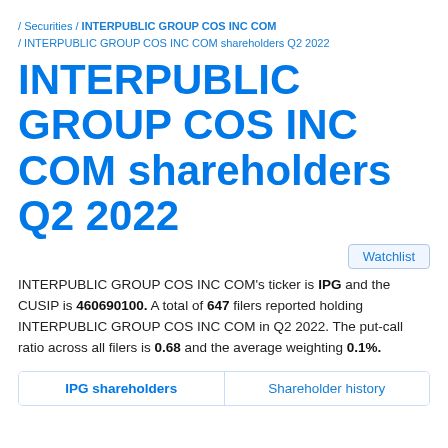/ Securities / INTERPUBLIC GROUP COS INC COM / INTERPUBLIC GROUP COS INC COM shareholders Q2 2022
INTERPUBLIC GROUP COS INC COM shareholders Q2 2022
Watchlist
INTERPUBLIC GROUP COS INC COM's ticker is IPG and the CUSIP is 460690100. A total of 647 filers reported holding INTERPUBLIC GROUP COS INC COM in Q2 2022. The put-call ratio across all filers is 0.68 and the average weighting 0.1%.
IPG shareholders | Shareholder history